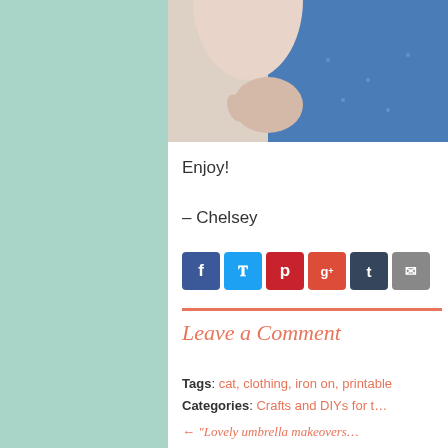[Figure (photo): Photo showing a person's hand and arm with blue clothing/fabric visible]
Enjoy!
– Chelsey
[Figure (infographic): Social media sharing buttons: Facebook, Twitter, Pinterest, Google+, Tumblr, Email]
Leave a Comment
Tags: cat, clothing, iron on, printable
Categories: Crafts and DIYs for t…
← "Lovely umbrella makeovers…"